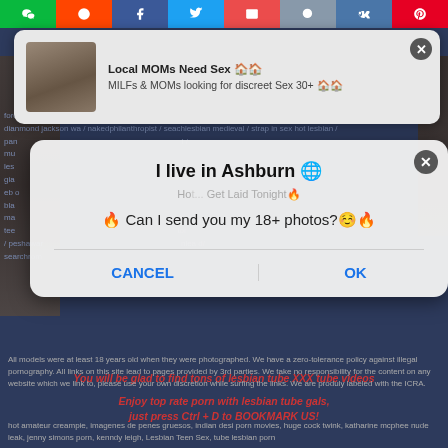[Figure (screenshot): Social media share bar with icons for WeChat, Reddit, Facebook, Twitter, Email, Search, VK, Pinterest]
[Figure (screenshot): Ad popup notification: 'Local MOMs Need Sex' with thumbnail image and subtitle 'MILFs & MOMs looking for discreet Sex 30+']
[Figure (screenshot): Browser dialog popup: 'I live in Ashburn' with message 'Can I send you my 18+ photos?' and CANCEL/OK buttons]
You will be glad to find tons of lesbian tube XXX tube videos
Enjoy top rate porn with lesbian tube gals, just press Ctrl + D to BOOKMARK US!
All models were at least 18 years old when they were photographed. We have a zero-tolerance policy against illegal pornography. All links on this site lead to pages provided by 3rd parties. We take no responsibility for the content on any website which we link to, please use your own discretion while surfing the links. We are produly labeled with the ICRA.
hot amateur creampie, imagenes de penes gruesos, indian desi porn movies, huge cock twink, katharine mcphee nude leak, jenny simons porn, kenndy leigh, Lesbian Teen Sex, tube lesbian porn